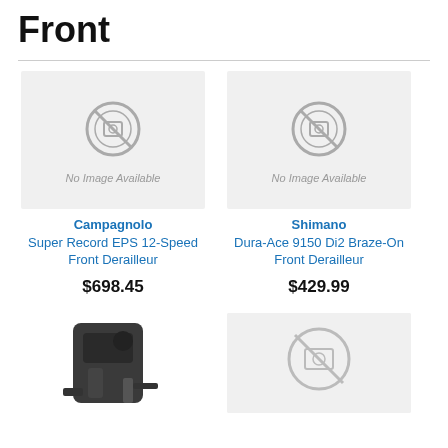Front
[Figure (photo): No Image Available placeholder for Campagnolo Super Record EPS 12-Speed Front Derailleur]
Campagnolo
Super Record EPS 12-Speed Front Derailleur
$698.45
[Figure (photo): No Image Available placeholder for Shimano Dura-Ace 9150 Di2 Braze-On Front Derailleur]
Shimano
Dura-Ace 9150 Di2 Braze-On Front Derailleur
$429.99
[Figure (photo): Photo of a front derailleur product (dark colored bike component)]
[Figure (photo): No Image Available placeholder, partially visible]